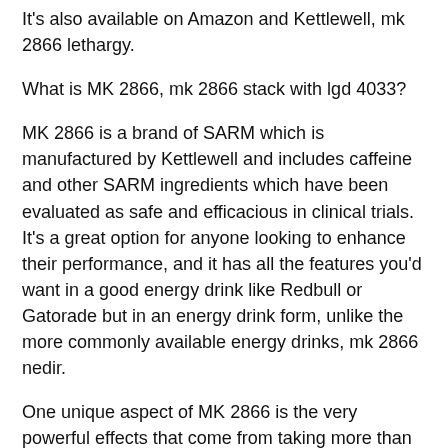It's also available on Amazon and Kettlewell, mk 2866 lethargy.
What is MK 2866, mk 2866 stack with lgd 4033?
MK 2866 is a brand of SARM which is manufactured by Kettlewell and includes caffeine and other SARM ingredients which have been evaluated as safe and efficacious in clinical trials. It's a great option for anyone looking to enhance their performance, and it has all the features you'd want in a good energy drink like Redbull or Gatorade but in an energy drink form, unlike the more commonly available energy drinks, mk 2866 nedir.
One unique aspect of MK 2866 is the very powerful effects that come from taking more than 1-2mg in one dose...